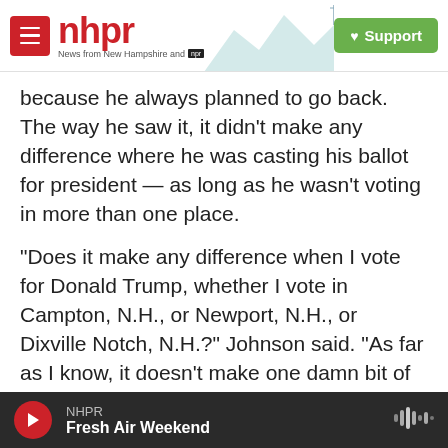NHPR — News from New Hampshire and NPR
because he always planned to go back. The way he saw it, it didn't make any difference where he was casting his ballot for president — as long as he wasn't voting in more than one place.
"Does it make any difference when I vote for Donald Trump, whether I vote in Campton, N.H., or Newport, N.H., or Dixville Notch, N.H.?" Johnson said. "As far as I know, it doesn't make one damn bit of difference at all."
New Hampshire voting law allows someone who has taken a "temporary absence" from a
NHPR — Fresh Air Weekend